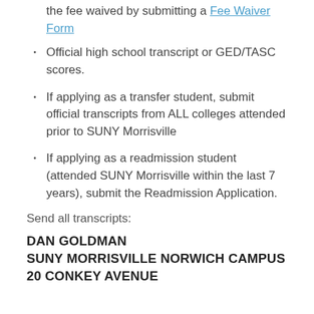the fee waived by submitting a Fee Waiver Form
Official high school transcript or GED/TASC scores.
If applying as a transfer student, submit official transcripts from ALL colleges attended prior to SUNY Morrisville
If applying as a readmission student (attended SUNY Morrisville within the last 7 years), submit the Readmission Application.
Send all transcripts:
DAN GOLDMAN
SUNY MORRISVILLE NORWICH CAMPUS
20 CONKEY AVENUE